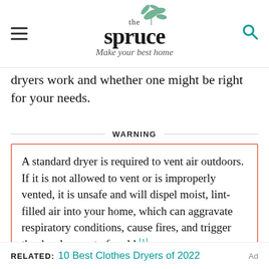the spruce | Make your best home
dryers work and whether one might be right for your needs.
WARNING
A standard dryer is required to vent air outdoors. If it is not allowed to vent or is improperly vented, it is unsafe and will dispel moist, lint-filled air into your home, which can aggravate respiratory conditions, cause fires, and trigger the development of mold.[1]
RELATED: 10 Best Clothes Dryers of 2022